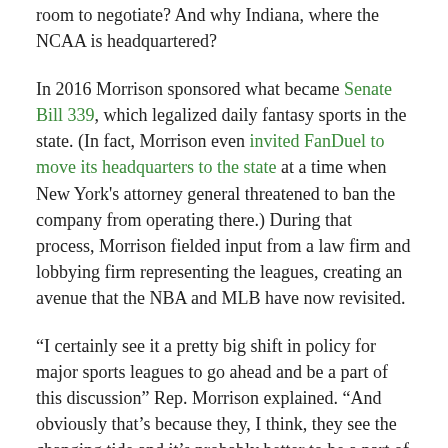room to negotiate? And why Indiana, where the NCAA is headquartered?
In 2016 Morrison sponsored what became Senate Bill 339, which legalized daily fantasy sports in the state. (In fact, Morrison even invited FanDuel to move its headquarters to the state at a time when New York's attorney general threatened to ban the company from operating there.) During that process, Morrison fielded input from a law firm and lobbying firm representing the leagues, creating an avenue that the NBA and MLB have now revisited.
“I certainly see it a pretty big shift in policy for major sports leagues to go ahead and be a part of this discussion” Rep. Morrison explained. “And obviously that’s because they, I think, they see the changing tide and it’s probably better to be a part of it then just kind of fight it from the outside.”
Pressed on whether the 1% integrity fee would survive an